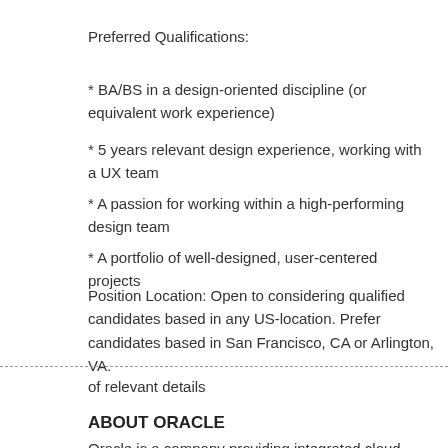Preferred Qualifications:
* BA/BS in a design-oriented discipline (or equivalent work experience)
* 5 years relevant design experience, working with a UX team
* A passion for working within a high-performing design team
* A portfolio of well-designed, user-centered projects
Position Location: Open to considering qualified candidates based in any US-location. Prefer candidates based in San Francisco, CA or Arlington, VA.
of relevant details
ABOUT ORACLE
Oracle is a company providing integrated cloud applications